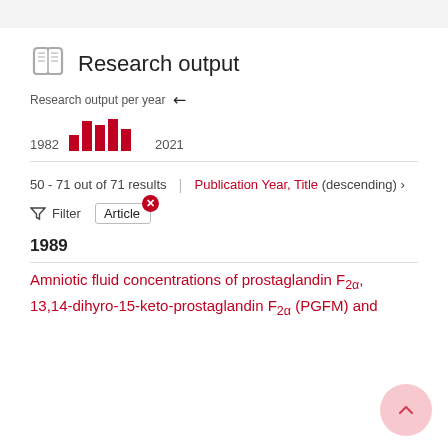Research output
Research output per year
[Figure (bar-chart): Research output per year]
50 - 71 out of 71 results
Publication Year, Title (descending) ›
Filter  Article
1989
Amniotic fluid concentrations of prostaglandin F2α, 13,14-dihyro-15-keto-prostaglandin F2α (PGFM) and